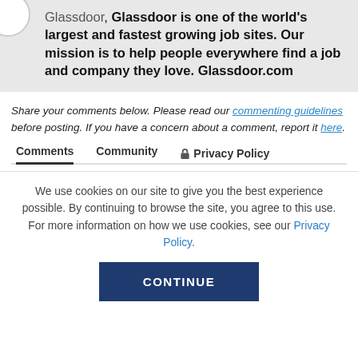Glassdoor, Glassdoor is one of the world's largest and fastest growing job sites. Our mission is to help people everywhere find a job and company they love. Glassdoor.com
Share your comments below. Please read our commenting guidelines before posting. If you have a concern about a comment, report it here.
Comments   Community   🔒 Privacy Policy
We use cookies on our site to give you the best experience possible. By continuing to browse the site, you agree to this use. For more information on how we use cookies, see our Privacy Policy.
CONTINUE